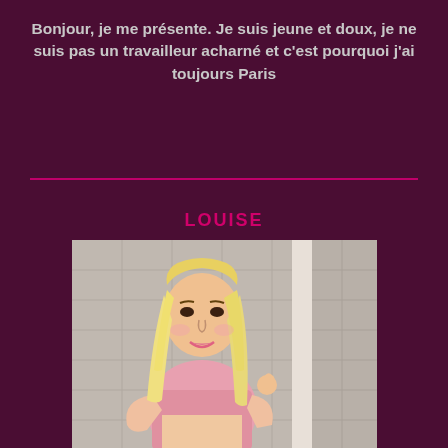Bonjour, je me présente. Je suis jeune et doux, je ne suis pas un travailleur acharné et c'est pourquoi j'ai toujours Paris
[Figure (photo): Portrait photo of a young blonde woman with long straight hair, wearing a pink top, posing near a wall/door frame with a tiled background]
LOUISE